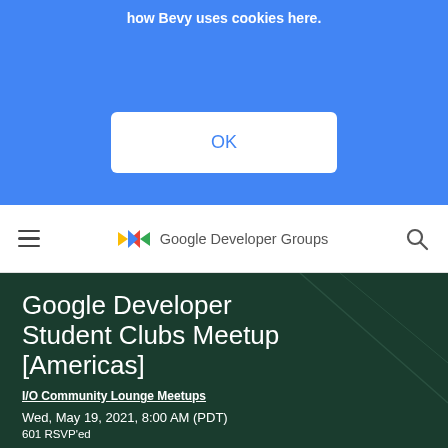how Bevy uses cookies here.
[Figure (screenshot): OK button on blue cookie consent banner]
[Figure (logo): Google Developer Groups logo with colored arrows and text]
Google Developer Student Clubs Meetup [Americas]
I/O Community Lounge Meetups
Wed, May 19, 2021, 8:00 AM (PDT)
601 RSVP'ed